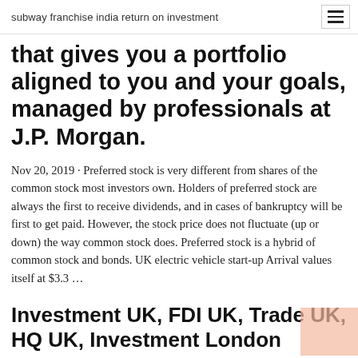subway franchise india return on investment
that gives you a portfolio aligned to you and your goals, managed by professionals at J.P. Morgan.
Nov 20, 2019 · Preferred stock is very different from shares of the common stock most investors own. Holders of preferred stock are always the first to receive dividends, and in cases of bankruptcy will be first to get paid. However, the stock price does not fluctuate (up or down) the way common stock does. Preferred stock is a hybrid of common stock and bonds. UK electric vehicle start-up Arrival values itself at $3.3 …
Investment UK, FDI UK, Trade UK, HQ UK, Investment London …